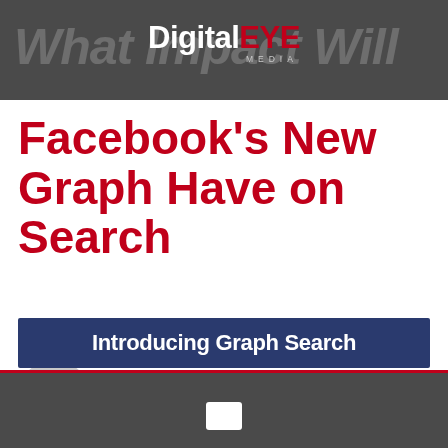What Impact Will
[Figure (logo): Digital EYE MEDIA logo — 'Digital' in white bold, 'EYE' in red bold, 'MEDIA' in small gray caps below]
Facebook's New Graph Have on Search
[Figure (illustration): Gray circle avatar / person silhouette icon]
Published: January 22, 2013
By
Admin
[Figure (screenshot): Dark blue banner with white bold text reading 'Introducing Graph Search']